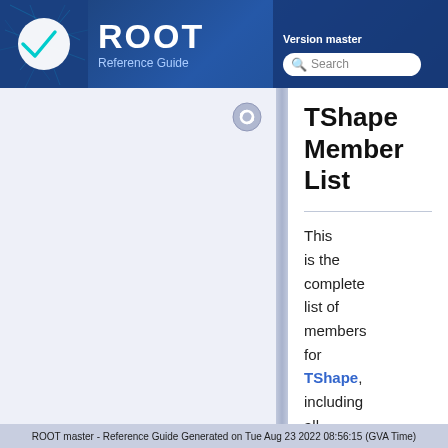ROOT Reference Guide — Version master
TShape Member List
This is the complete list of members for TShape, including all inherited
ROOT master - Reference Guide Generated on Tue Aug 23 2022 08:56:15 (GVA Time)